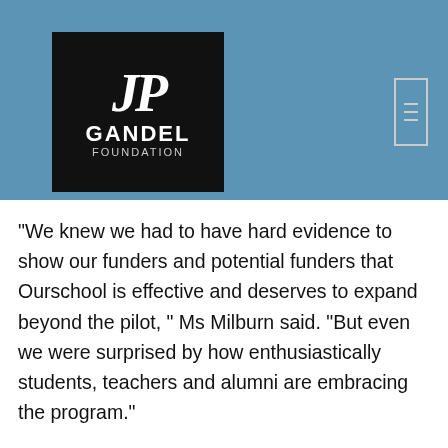[Figure (logo): Gandel Foundation logo — black square with stylized JP monogram in white italic, GANDEL in bold white text, FOUNDATION in smaller white text below]
“We knew we had to have hard evidence to show our funders and potential funders that Ourschool is effective and deserves to expand beyond the pilot, ” Ms Milburn said. “But even we were surprised by how enthusiastically students, teachers and alumni are embracing the program.”
The evaluator has completed an interim evaluation report, dealing with the first six months of the Ourschool program’s operation in its eight pilot schools. The report dealt mainly with the responses from students, teachers and alumni surveyed about their participation in the alumni program.